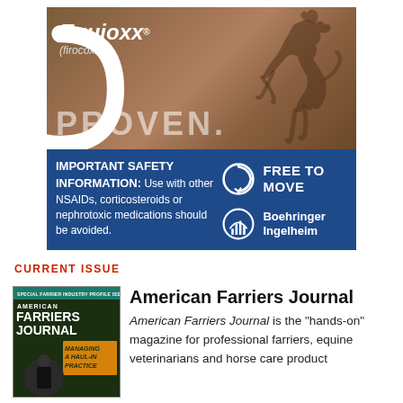[Figure (illustration): Equioxx (firocoxib) advertisement with PROVEN text, horse silhouette on brown textured background, important safety information on blue panel, Free To Move and Boehringer Ingelheim logos]
CURRENT ISSUE
[Figure (photo): American Farriers Journal magazine cover - Special Farrier Industry Profile Issue with cover story Managing a Haul-In Practice, showing a farrier in black]
American Farriers Journal
American Farriers Journal is the "hands-on" magazine for professional farriers, equine veterinarians and horse care product